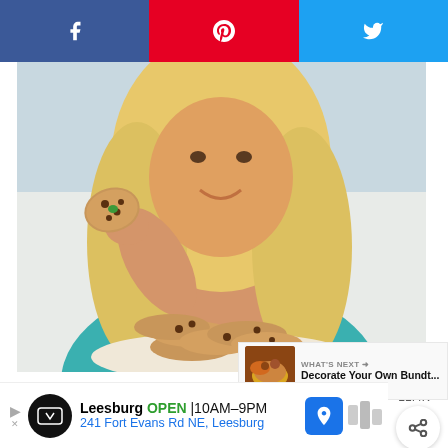[Figure (screenshot): Social share bar with Facebook (blue), Pinterest (red), and Twitter (light blue) buttons at the top of a webpage]
[Figure (photo): Blonde woman in teal top holding a chocolate chip cookie with a plate of cookies in front of her]
Amy's Baking Secrets... Revealed!!
Want to learn how to bake the BEST cookies? I'll send you my secrets + a FREE printable gift!
[Figure (screenshot): Email input field with placeholder text 'Your Email...']
[Figure (screenshot): WHAT'S NEXT widget showing 'Decorate Your Own Bundt...' with a thumbnail image]
[Figure (screenshot): Advertisement bar for Leesburg store showing OPEN 10AM-9PM, 241 Fort Evans Rd NE, Leesburg with navigation icon]